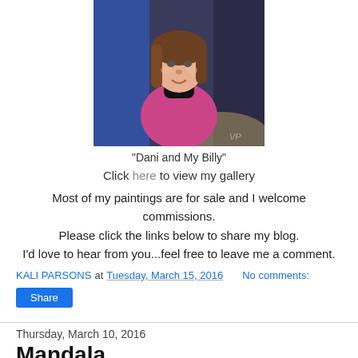[Figure (illustration): Painting of a girl in a pink top with brown hair, painted in an expressive style with blue and dark background tones]
"Dani and My Billy"
Click here to view my gallery
Most of my paintings are for sale and I welcome commissions.
Please click the links below to share my blog.
I’d love to hear from you...feel free to leave me a comment.
KALI PARSONS at Tuesday, March 15, 2016    No comments:
Share
Thursday, March 10, 2016
Mandala